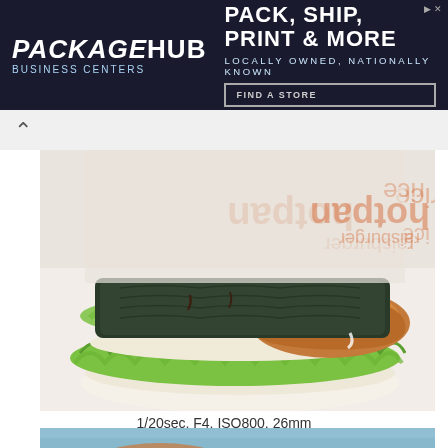[Figure (photo): PackageHub Business Centers advertisement banner with dark blue background. Logo on left reads 'PackageHub Business Centers'. Tagline reads 'PACK, SHIP, PRINT & MORE' with subtitle 'LOCALLY OWNED, NATIONALLY KNOWN' and a 'FIND A STORE' button.]
[Figure (photo): Close-up photo of a rice burger/onigirazu from Mos Burger or similar Japanese fast food chain. The sandwich consists of compressed rice buns, nori (seaweed), bright green lettuce, fish/chicken fillet, wrapped in branded paper packaging showing 'hotpan' text.]
1/20sec, F4, ISO800, 26mm
[Figure (photo): Partial view of a second food photograph at the bottom of the page, showing what appears to be food on a light blue/teal background.]